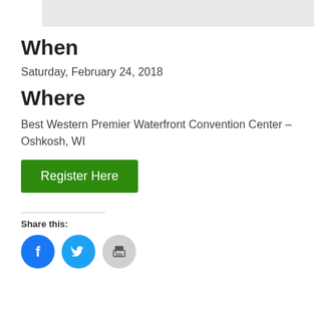[Figure (other): Gray banner/header bar at top of page]
When
Saturday, February 24, 2018
Where
Best Western Premier Waterfront Convention Center – Oshkosh, WI
Register Here
Share this:
[Figure (other): Social media share icons: Facebook (blue circle), Twitter (blue circle), Print (gray circle)]